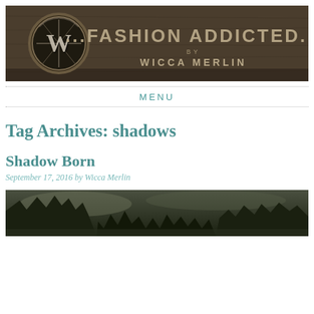[Figure (illustration): Blog header banner with dark brown wooden textured background. Left side shows a circular emblem with a 'W' letter behind a grid/cage design. Right side shows the text '...FASHION ADDICTED...' in large metallic letters, with 'BY' and 'WICCA MERLIN' below in styled text.]
MENU
Tag Archives: shadows
Shadow Born
September 17, 2016 by Wicca Merlin
[Figure (photo): Dark moody outdoor photo showing trees and shadowy scene with a figure, in dark green and brown tones.]